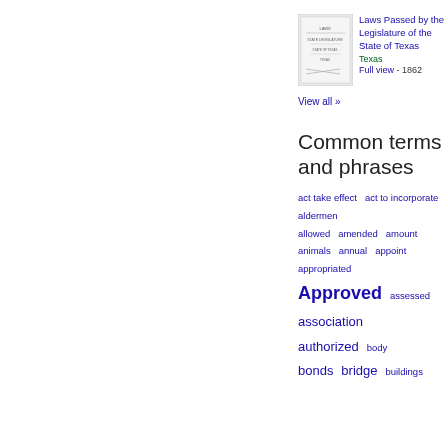[Figure (illustration): Thumbnail image of book cover for 'Laws Passed by the Legislature of the State of Texas']
Laws Passed by the Legislature of the State of Texas
Texas
Full view - 1862
View all »
Common terms and phrases
act take effect  act to incorporate  aldermen  allowed  amended  amount  animals  annual  appoint  appropriated  Approved  assessed  association  authorized  body  bonds  bridge  buildings